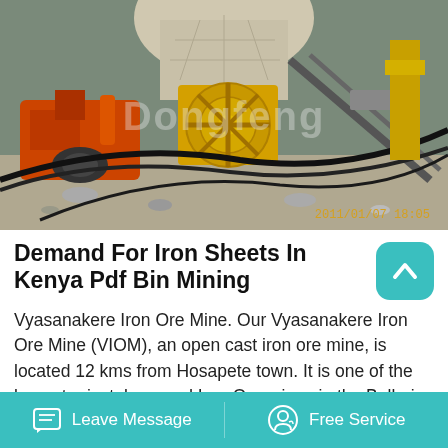[Figure (photo): Mining equipment at an iron ore mine site. Shows orange and yellow heavy machinery including what appears to be a sand washer/wheel with a large yellow gear wheel, conveyor belts, electrical cables, and rocky ground. A watermark 'Dongfeng' is overlaid. Timestamp '2011/01/07 18:05' in orange in the bottom right.]
Demand For Iron Sheets In Kenya Pdf Bin Mining
Vyasanakere Iron Ore Mine. Our Vyasanakere Iron Ore Mine (VIOM), an open cast iron ore mine, is located 12 kms from Hosapete town. It is one of the largest privately owned Iron Ore mines in the Ballari-Hosapete region. The mine spans across an area of 347.22 hectare and is approachable from
Leave Message   Free Service